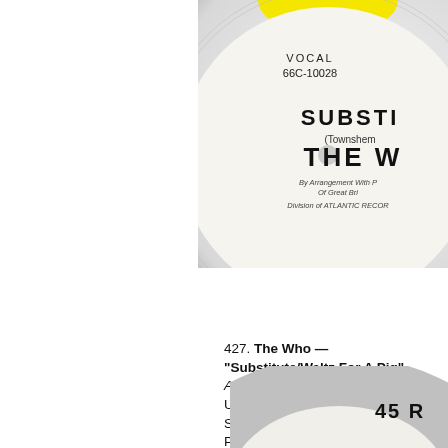[Figure (photo): Partial view of a vinyl 45 RPM record with white label showing text: VOCAL, 66C-10028, SUBSTI[TUTE], (Townshen[d]), THE W[HO], By Arrangement With [P...] Of Great Br[itain], Division of ATLANTIC RECO[RDS]. Yellow center visible at top.]
427. The Who — "Substitute/Waltz For A Pig" ATCO 6409 MINT Their FIRST USA 45, and this is the much rarer STOCK COPY—usually found as PROMO MB $50
[Figure (photo): Partial view of a vinyl 45 RPM record bottom edge showing text: 45 R[PM]]